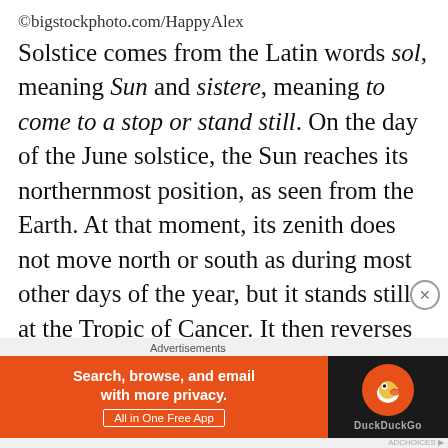©bigstockphoto.com/HappyAlex
Solstice comes from the Latin words sol, meaning Sun and sistere, meaning to come to a stop or stand still. On the day of the June solstice, the Sun reaches its northernmost position, as seen from the Earth. At that moment, its zenith does not move north or south as during most other days of the year, but it stands still at the Tropic of Cancer. It then reverses its direction and starts moving south again.

The opposite happens during the December solstice. Then, the Sun reaches its southernmost position in
[Figure (infographic): DuckDuckGo advertisement banner with orange background, text 'Search, browse, and email with more privacy. All in One Free App' and DuckDuckGo logo on dark background]